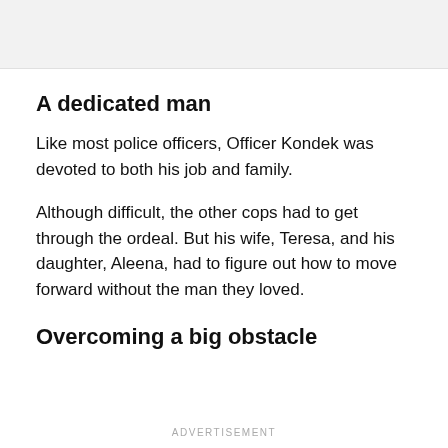[Figure (other): Gray advertisement banner placeholder at top of page]
A dedicated man
Like most police officers, Officer Kondek was devoted to both his job and family.
Although difficult, the other cops had to get through the ordeal. But his wife, Teresa, and his daughter, Aleena, had to figure out how to move forward without the man they loved.
Overcoming a big obstacle
ADVERTISEMENT